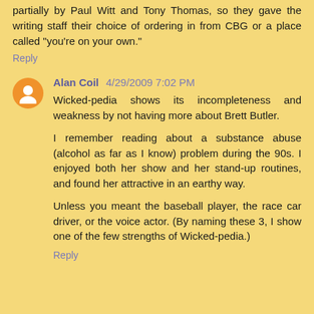partially by Paul Witt and Tony Thomas, so they gave the writing staff their choice of ordering in from CBG or a place called "you're on your own."
Reply
Alan Coil 4/29/2009 7:02 PM
Wicked-pedia shows its incompleteness and weakness by not having more about Brett Butler.
I remember reading about a substance abuse (alcohol as far as I know) problem during the 90s. I enjoyed both her show and her stand-up routines, and found her attractive in an earthy way.
Unless you meant the baseball player, the race car driver, or the voice actor. (By naming these 3, I show one of the few strengths of Wicked-pedia.)
Reply